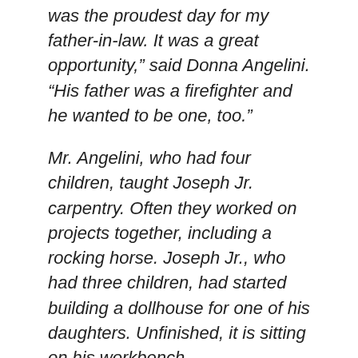was the proudest day for my father-in-law. It was a great opportunity," said Donna Angelini. "His father was a firefighter and he wanted to be one, too."
Mr. Angelini, who had four children, taught Joseph Jr. carpentry. Often they worked on projects together, including a rocking horse. Joseph Jr., who had three children, had started building a dollhouse for one of his daughters. Unfinished, it is sitting on his workbench.